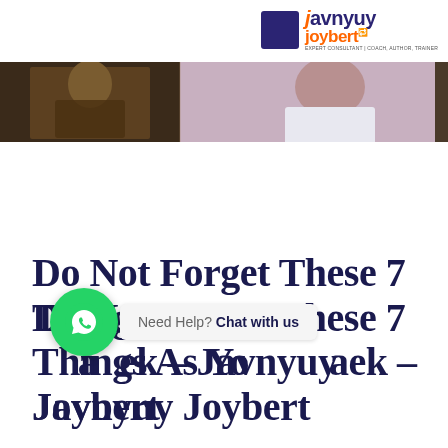javnyuy joybert
[Figure (photo): Banner image with two men, one in a dark patterned outfit on the left and another in a white suit on the right, against an ornate background.]
Do Not Forget These 7 Things As You…a…ek – Javnyuy Joybert